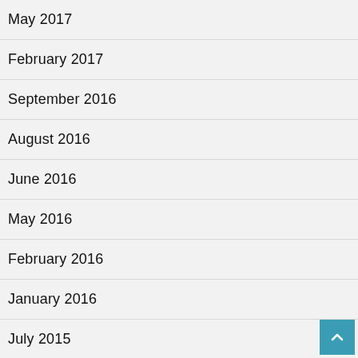May 2017
February 2017
September 2016
August 2016
June 2016
May 2016
February 2016
January 2016
July 2015
May 2015